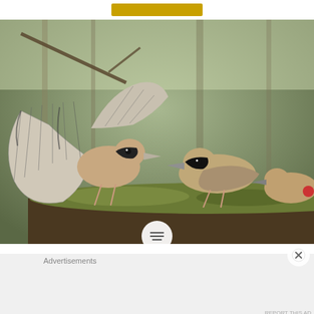[Figure (photo): Three hawfinch birds on a mossy tree stump. One bird on the left has wings spread wide in a display posture, facing two other birds. Background shows blurred woodland trees. A fourth bird is partially visible on the right edge.]
[Figure (other): Circular white button with horizontal lines (hamburger/menu icon)]
[Figure (other): Circular close/dismiss button with X symbol]
Advertisements
[Figure (other): DuckDuckGo advertisement banner: 'Search, browse, and email with more privacy. All in One Free App' on orange-red background, with DuckDuckGo logo on dark background]